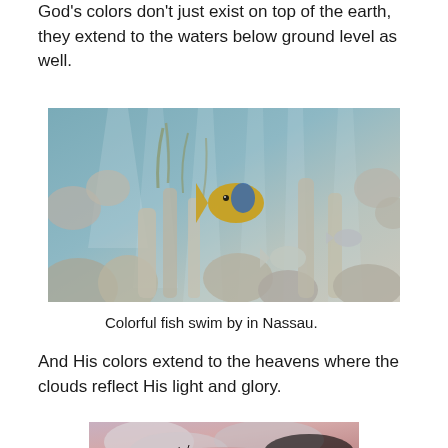God's colors don't just exist on top of the earth, they extend to the waters below ground level as well.
[Figure (photo): Underwater scene in Nassau showing colorful tropical fish swimming among coral formations and sea plants, with light rays filtering through the water.]
Colorful fish swim by in Nassau.
And His colors extend to the heavens where the clouds reflect His light and glory.
[Figure (photo): Sunset sky with pink and purple clouds reflecting light, with bare tree silhouettes in the foreground.]